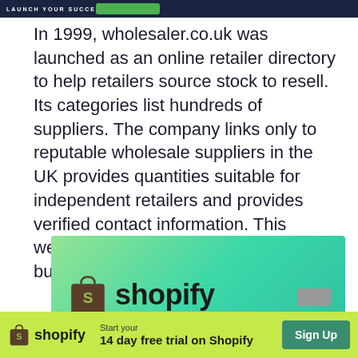LAUNCH YOUR SUCCESS
In 1999, wholesaler.co.uk was launched as an online retailer directory to help retailers source stock to resell. Its categories list hundreds of suppliers. The company links only to reputable wholesale suppliers in the UK provides quantities suitable for independent retailers and provides verified contact information. This website is free to use if you want to buy wholesale.
[Figure (advertisement): Shopify advertisement banner with green gradient background showing the Shopify logo (bag icon and wordmark)]
[Figure (advertisement): Bottom Shopify banner bar with logo, 'Start your 14 day free trial on Shopify' text, and a 'Sign Up' button on a yellow-green background]